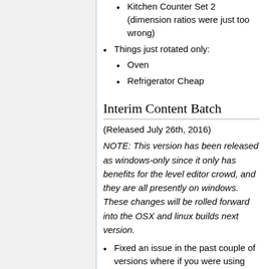Kitchen Counter Set 2 (dimension ratios were just too wrong)
Things just rotated only:
Oven
Refrigerator Cheap
Interim Content Batch
(Released July 26th, 2016)
NOTE: This version has been released as windows-only since it only has benefits for the level editor crowd, and they are all presently on windows. These changes will be rolled forward into the OSX and linux builds next version.
Fixed an issue in the past couple of versions where if you were using objects with a scale defined for them